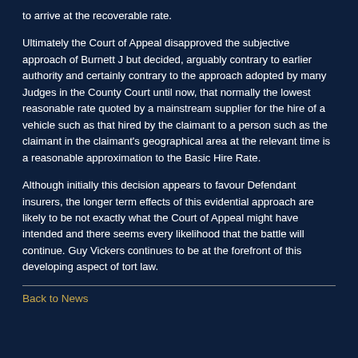to arrive at the recoverable rate.
Ultimately the Court of Appeal disapproved the subjective approach of Burnett J but decided, arguably contrary to earlier authority and certainly contrary to the approach adopted by many Judges in the County Court until now, that normally the lowest reasonable rate quoted by a mainstream supplier for the hire of a vehicle such as that hired by the claimant to a person such as the claimant in the claimant's geographical area at the relevant time is a reasonable approximation to the Basic Hire Rate.
Although initially this decision appears to favour Defendant insurers, the longer term effects of this evidential approach are likely to be not exactly what the Court of Appeal might have intended and there seems every likelihood that the battle will continue. Guy Vickers continues to be at the forefront of this developing aspect of tort law.
Back to News